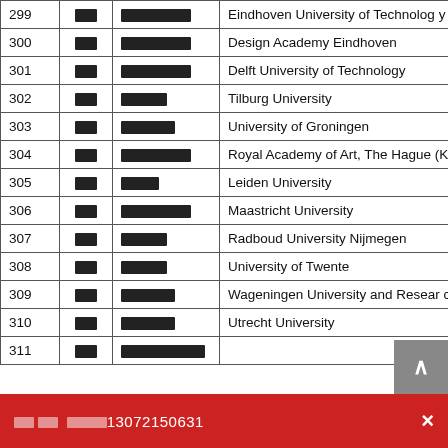| # | ██ | ████████ | Institution |
| --- | --- | --- | --- |
| 299 | ██ | ████████ | Eindhoven University of Technology |
| 300 | ██ | ████████ | Design Academy Eindhoven |
| 301 | ██ | ████████ | Delft University of Technology |
| 302 | ██ | █████ | Tilburg University |
| 303 | ██ | ██████ | University of Groningen |
| 304 | ██ | ████████ | Royal Academy of Art, The Hague (KABK) |
| 305 | ██ | ████ | Leiden University |
| 306 | ██ | ████████ | Maastricht University |
| 307 | ██ | █████ | Radboud University Nijmegen |
| 308 | ██ | █████ | University of Twente |
| 309 | ██ | ██████ | Wageningen University and Research Center |
| 310 | ██ | ██████ | Utrecht University |
| 311 | ██ | ██████████ |  |
██/██ ████13072150631 ×